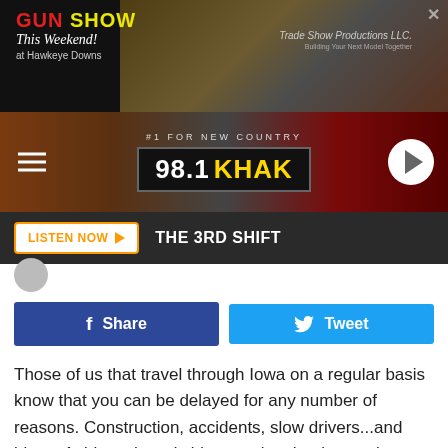[Figure (screenshot): Gun Show This Weekend at Hawkeye Downs advertisement banner on dark background with rifle imagery and Trade Show Productions LLC logo]
[Figure (screenshot): 98.1 KHAK radio station header with #1 For New Country tagline, hamburger menu icon on left, play button on right, wood and American flag background]
LISTEN NOW ▶  THE 3RD SHIFT
[Figure (screenshot): Facebook Share button (blue) and Twitter Tweet button (cyan) side by side]
Those of us that travel through Iowa on a regular basis know that you can be delayed for any number of reasons. Construction, accidents, slow drivers...and bison. A driver shared video proving that last option really is a thing here.
I found this video that Josh O'Rourke shared. Full disclosure is that he really didn't consider this a "traffic jam" per se